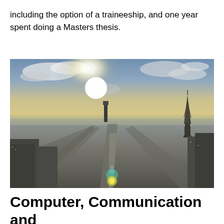including the option of a traineeship, and one year spent doing a Masters thesis.
[Figure (photo): Aerial panoramic view of Paris, France, showing the Eiffel Tower on the right, Montparnasse Tower in the center background, and radiating boulevards, taken from a high vantage point with the sun creating a bright glare in the upper center, and lens flare visible near the bottom center.]
Computer, Communication and Information Science